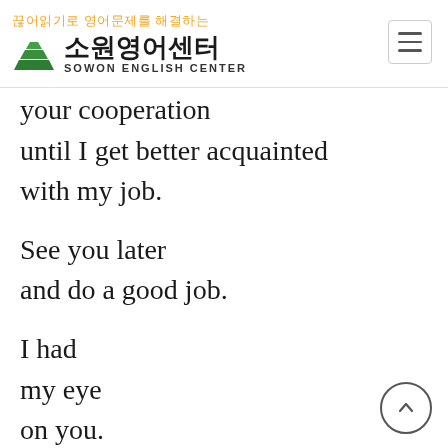끊어읽기로 영어문제를 해결하는 소원영어센터 SOWON ENGLISH CENTER
your cooperation until I get better acquainted with my job.
See you later and do a good job.
I had my eye on you.
You do